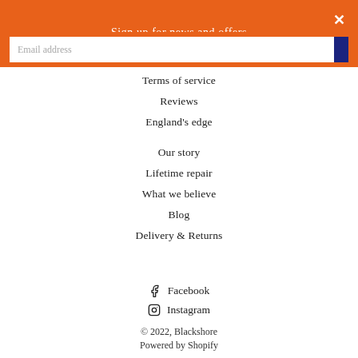Sign up for news and offers
Terms of service
Reviews
England's edge
Our story
Lifetime repair
What we believe
Blog
Delivery & Returns
Facebook
Instagram
© 2022, Blackshore
Powered by Shopify